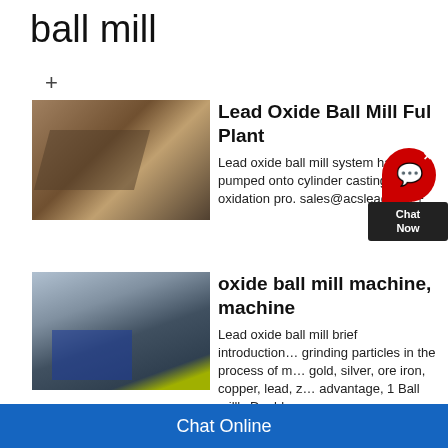ball mill
+
[Figure (photo): Aerial view of industrial ball mill plant with conveyor belts and machinery]
Lead Oxide Ball Mill Full Plant
Lead oxide ball mill system ha... pumped onto cylinder casting... oxidation pro. sales@acsleadtech +
[Figure (photo): Industrial oxide ball mill machine with blue steel frame structure outdoors]
oxide ball mill machine, machine
Lead oxide ball mill brief introduction... grinding particles in the process of m... gold, silver, ore iron, copper, lead, z... advantage, 1 Ball mill's Double-row
Chat Online